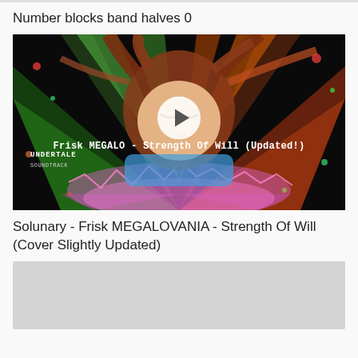Number blocks band halves 0
[Figure (screenshot): Video thumbnail showing anime-style character (Frisk from Undertale) with red-brown hair against a colorful dark background with rainbow rays. A white play button circle is overlaid in the center. Text overlay reads 'Frisk MEGALO - Strength Of Will (Updated!)' and 'UNDERTALE' label bottom left.]
Solunary - Frisk MEGALOVANIA - Strength Of Will (Cover Slightly Updated)
[Figure (screenshot): Partially visible gray/light colored video thumbnail at bottom of page, mostly cut off.]